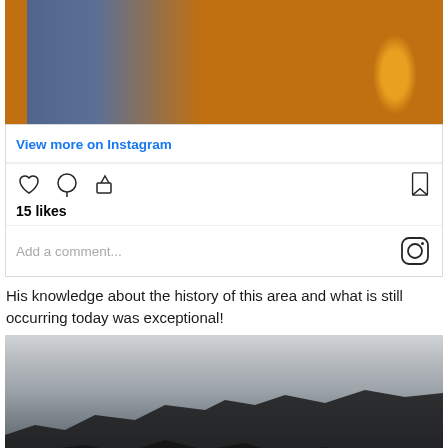[Figure (photo): Photo of a person in a blue shirt at an outdoor table with an orange drink and wooden surface in the background]
View more on Instagram
15 likes
Add a comment...
His knowledge about the history of this area and what is still occurring today was exceptional!
[Figure (photo): Landscape photo of a rocky volcanic terrain with a misty/foggy grey sky and distant hills or mountains]